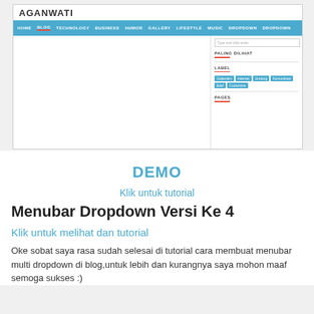[Figure (screenshot): Screenshot of a blog website called AGANWATI showing a navigation bar with blue background containing menu items (HOME, BLOG, TECHNOLOGY, BUSINESS, HUMOR, GALLERY, LIFESTYLE, MUSIC, DROPDOWN, DROPDOWN), and a sidebar with search box, PALING DILIHAT section, LABEL section with colored tags (Galamten, Internet, Undong, Komunikasi, Edel, Customize), and PAGES section.]
DEMO
Klik untuk tutorial
Menubar Dropdown Versi Ke 4
Klik untuk melihat dan tutorial
Oke sobat saya rasa sudah selesai di tutorial cara membuat menubar multi dropdown di blog,untuk lebih dan kurangnya saya mohon maaf semoga sukses :)